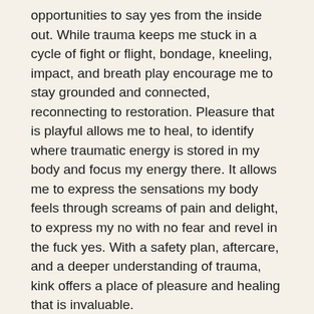opportunities to say yes from the inside out. While trauma keeps me stuck in a cycle of fight or flight, bondage, kneeling, impact, and breath play encourage me to stay grounded and connected, reconnecting to restoration. Pleasure that is playful allows me to heal, to identify where traumatic energy is stored in my body and focus my energy there. It allows me to express the sensations my body feels through screams of pain and delight, to express my no with no fear and revel in the fuck yes. With a safety plan, aftercare, and a deeper understanding of trauma, kink offers a place of pleasure and healing that is invaluable.
So whether your pleasure looks like cooking a meal at your leisure, engaging in sex, having bed days with your people, participating in disability care collectives, having someone spit in your mouth, going on accessible outings, having cuddle dates, attending an online dance party, spending time in your garden, being choked out in a dungeon,